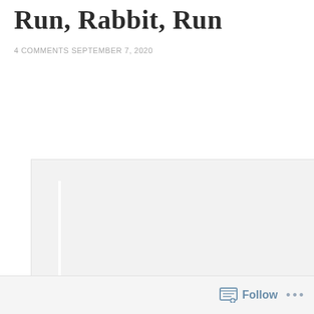Run, Rabbit, Run
4 COMMENTS SEPTEMBER 7, 2020
[Figure (photo): A large light gray placeholder image area with a white vertical line near the left side, partially visible, cropped at the bottom.]
Follow ...